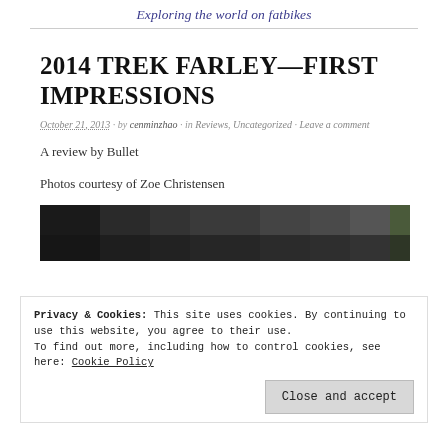Exploring the world on fatbikes
2014 TREK FARLEY—FIRST IMPRESSIONS
October 21, 2013 · by cenminzhao · in Reviews, Uncategorized · Leave a comment
A review by Bullet
Photos courtesy of Zoe Christensen
[Figure (photo): Partial photo of a fatbike or outdoor scene, dark tones]
Privacy & Cookies: This site uses cookies. By continuing to use this website, you agree to their use. To find out more, including how to control cookies, see here: Cookie Policy